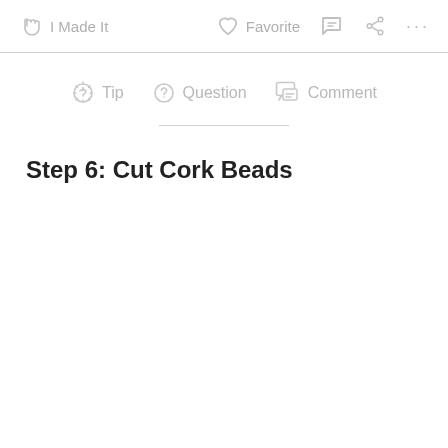I Made It   Favorite   Comment   Share   ...
Tip   Question   Comment
Step 6: Cut Cork Beads